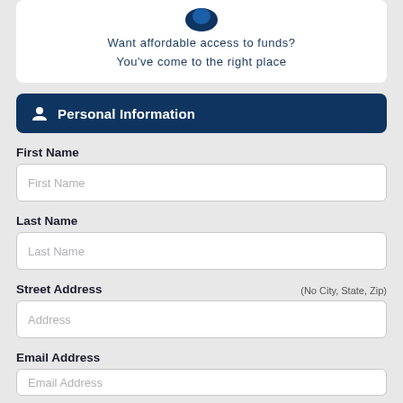Want affordable access to funds?
You've come to the right place
Personal Information
First Name
Last Name
Street Address (No City, State, Zip)
Email Address